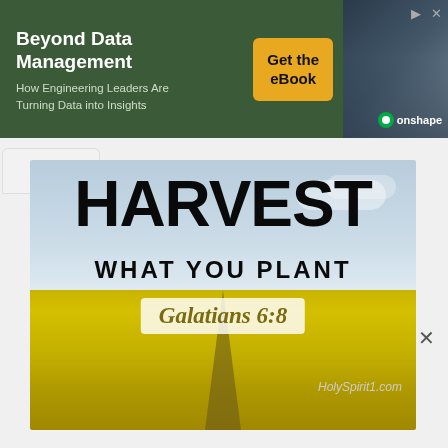[Figure (infographic): Advertisement banner for Onshape: 'Beyond Data Management – How Engineering Leaders Are Turning Data into Insights' with a 'Get the eBook' button and Onshape logo on a dark green background]
[Figure (photo): Inspirational image showing text 'HARVEST WHAT YOU PLANT' with 'Galatians 6:8' in a white box, overlaid on a photo of a yellow flower field (canola/rapeseed) under a blue sky. Attribution: HolySpirit1.com]